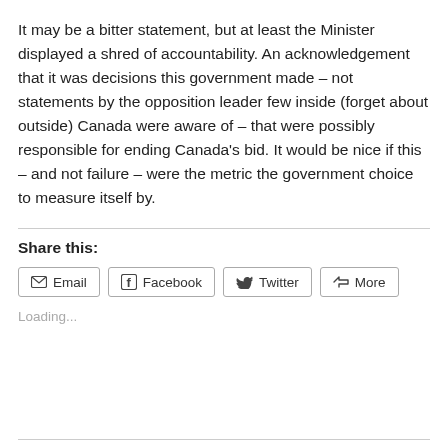It may be a bitter statement, but at least the Minister displayed a shred of accountability. An acknowledgement that it was decisions this government made – not statements by the opposition leader few inside (forget about outside) Canada were aware of – that were possibly responsible for ending Canada's bid. It would be nice if this – and not failure – were the metric the government choice to measure itself by.
Share this:
Email | Facebook | Twitter | More
Loading...